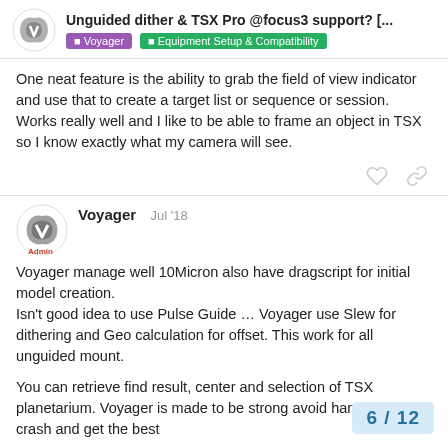Unguided dither & TSX Pro @focus3 support? [...] | Voyager | Equipment Setup & Compatibility
One neat feature is the ability to grab the field of view indicator and use that to create a target list or sequence or session. Works really well and I like to be able to frame an object in TSX so I know exactly what my camera will see.
Voyager  Jul '18
Voyager manage well 10Micron also have dragscript for initial model creation.
Isn't good idea to use Pulse Guide … Voyager use Slew for dithering and Geo calculation for offset. This work for all unguided mount.

You can retrieve find result, center and selection of TSX planetarium. Voyager is made to be strong avoid hang-up and crash and get the best
6 / 12